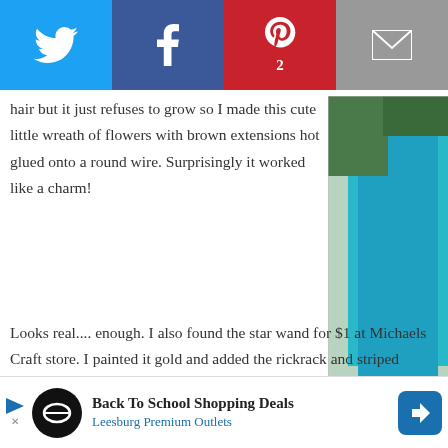[Figure (other): Social media sharing bar with Twitter (blue), Facebook (dark blue), Pinterest (red, count=2), and Email (grey) buttons]
hair but it just refuses to grow so I made this cute little wreath of flowers with brown extensions hot glued onto a round wire. Surprisingly it worked like a charm! Looks real.... enough. I also found the star wand for $1 at Michaels Craft store. I painted it gold and added the rickrack and striped ribbons. Lily didn't even mind wearing the fake hair....much.
[Figure (photo): Photo collage of a girl in a teal/turquoise dress near trees outdoors]
[Figure (photo): Photo of a field with tall grass and sky]
The cut of the dress begins with an empire waist and billows out to cover the arms at the elbows
[Figure (other): Advertisement banner: Back To School Shopping Deals, Leesburg Premium Outlets]